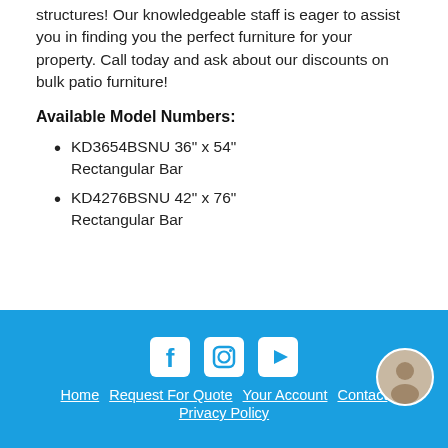structures! Our knowledgeable staff is eager to assist you in finding you the perfect furniture for your property. Call today and ask about our discounts on bulk patio furniture!
Available Model Numbers:
KD3654BSNU 36" x 54" Rectangular Bar
KD4276BSNU 42" x 76" Rectangular Bar
Home  Request For Quote  Your Account  Contact  Privacy Policy